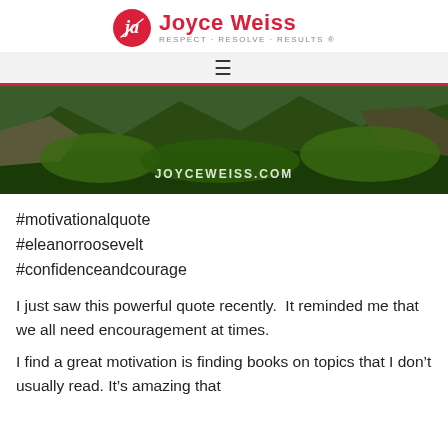Joyce Weiss RESPECT · RESOLVE · RESULTS ®
[Figure (photo): Scenic mountain valley with green vegetation and rocky cliffs, watermarked JOYCEWEISS.COM]
#motivationalquote
#eleanorroosevelt
#confidenceandcourage
I just saw this powerful quote recently.  It reminded me that we all need encouragement at times.
I find a great motivation is finding books on topics that I don't usually read. It's amazing that